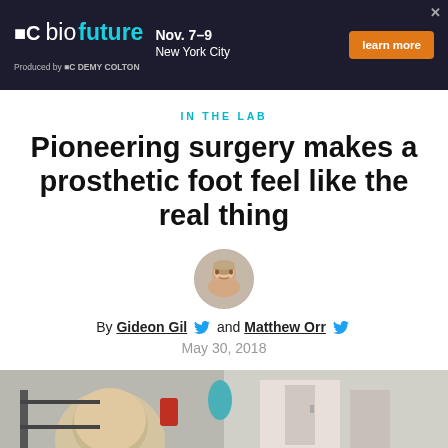[Figure (other): Advertisement banner for DC BioFuture event, Nov. 7-9, New York City, produced by DC Demy Colton, with orange 'learn more' button]
IN THE LAB
Pioneering surgery makes a prosthetic foot feel like the real thing
[Figure (photo): Headshot of a man, author photo for Gideon Gil]
By Gideon Gil and Matthew Orr
May 30, 2018
[Figure (photo): Partial photo of a bald person in a lab or clinical setting, cropped at bottom of page]